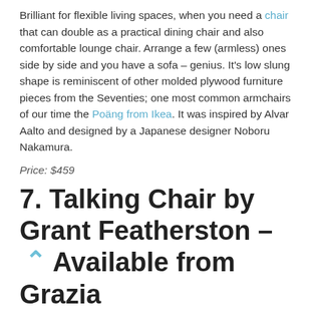Brilliant for flexible living spaces, when you need a chair that can double as a practical dining chair and also comfortable lounge chair. Arrange a few (armless) ones side by side and you have a sofa – genius. It's low slung shape is reminiscent of other molded plywood furniture pieces from the Seventies; one most common armchairs of our time the Poäng from Ikea. It was inspired by Alvar Aalto and designed by a Japanese designer Noboru Nakamura.
Price: $459
7. Talking Chair by Grant Featherston – Available from Grazia